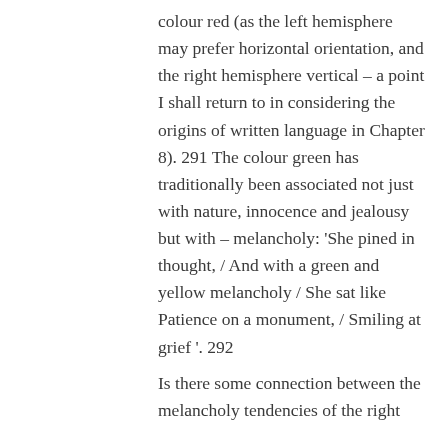colour red (as the left hemisphere may prefer horizontal orientation, and the right hemisphere vertical – a point I shall return to in considering the origins of written language in Chapter 8). 291 The colour green has traditionally been associated not just with nature, innocence and jealousy but with – melancholy: 'She pined in thought, / And with a green and yellow melancholy / She sat like Patience on a monument, / Smiling at grief '. 292
Is there some connection between the melancholy tendencies of the right